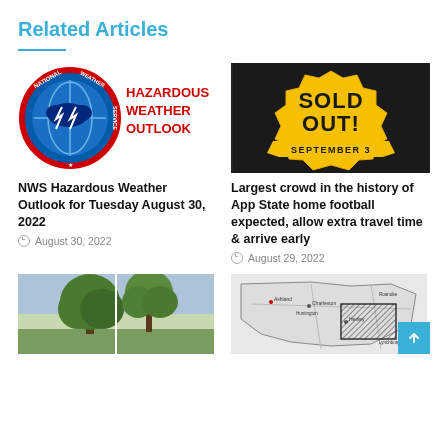Related Articles
[Figure (logo): National Weather Service logo with text HAZARDOUS WEATHER OUTLOOK in red]
NWS Hazardous Weather Outlook for Tuesday August 30, 2022
August 30, 2022
[Figure (photo): Black background with yellow text SOLD OUT! and SEPTEMBER 3 banner, App State football]
Largest crowd in the history of App State home football expected, allow extra travel time & arrive early
August 29, 2022
[Figure (photo): Two large trees side by side outdoors]
[Figure (map): Regional map showing Appalachian region with hatched area]